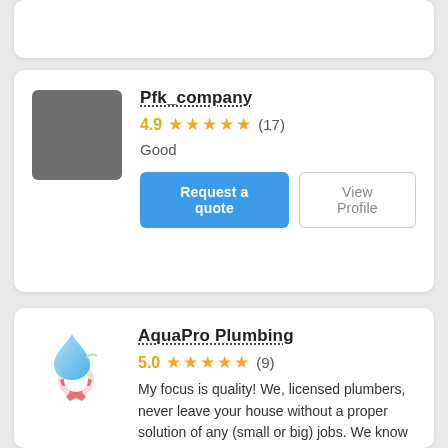Pfk_company
4.9 ★★★★★ (17)
Good
Request a quote | View Profile
[Figure (logo): AquaPro Plumbing logo: blue water droplet on pink gear icon]
AquaPro Plumbing
5.0 ★★★★★ (9)
My focus is quality! We, licensed plumbers, never leave your house without a proper solution of any (small or big) jobs. We know how important it is ... Read More
Request a quote | View Profile